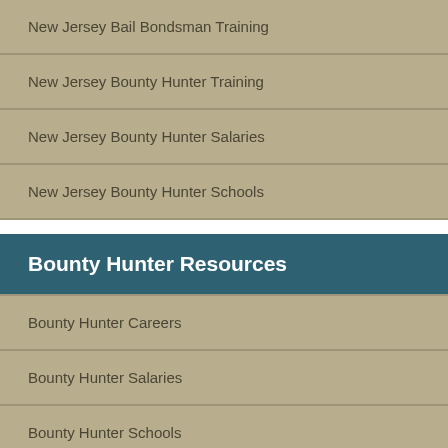New Jersey Bail Bondsman Training
New Jersey Bounty Hunter Training
New Jersey Bounty Hunter Salaries
New Jersey Bounty Hunter Schools
Bounty Hunter Resources
Bounty Hunter Careers
Bounty Hunter Salaries
Bounty Hunter Schools